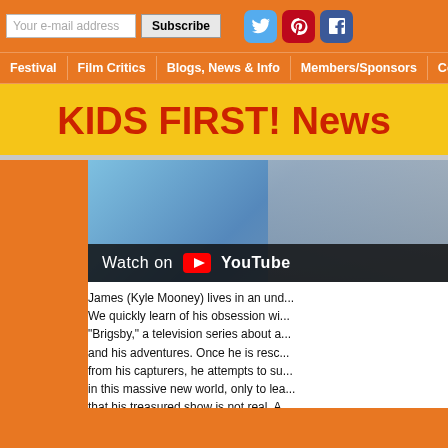Your e-mail address | Subscribe | [social icons: Twitter, Pinterest, Facebook]
Festival | Film Critics | Blogs, News & Info | Members/Sponsors | Contact Us | S...
KIDS FIRST! News
[Figure (screenshot): YouTube video thumbnail showing a blurred image with a dark overlay bar reading 'Watch on YouTube']
James (Kyle Mooney) lives in an und... We quickly learn of his obsession wi... "Brigsby," a television series about a... and his adventures. Once he is resc... from his capturers, he attempts to su... in this massive new world, only to lea... that his treasured show is not real. A... struggles to reinvent "Brigsby Bear,"... ends up not only completing the sho...
[Figure (screenshot): Partial image visible at bottom of page]